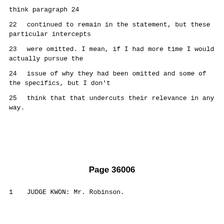think paragraph 24
22     continued to remain in the statement, but these particular intercepts
23     were omitted.  I mean, if I had more time I would actually pursue the
24     issue of why they had been omitted and some of the specifics, but I don't
25     think that that undercuts their relevance in any way.
Page 36006
1               JUDGE KWON:  Mr. Robinson.